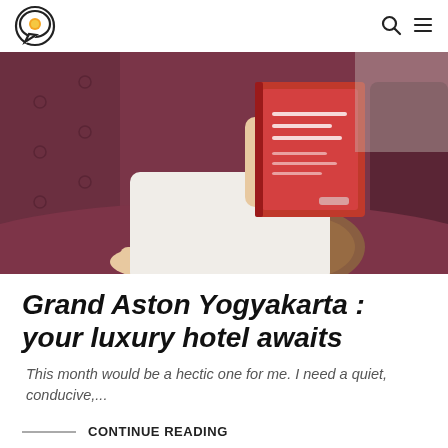Logo | Search | Menu
[Figure (photo): Person sitting on a dark maroon tufted sofa reading a red book, wearing a patterned dress with bare legs, with a brown pillow beside them.]
Grand Aston Yogyakarta : your luxury hotel awaits
This month would be a hectic one for me. I need a quiet, conducive,...
CONTINUE READING